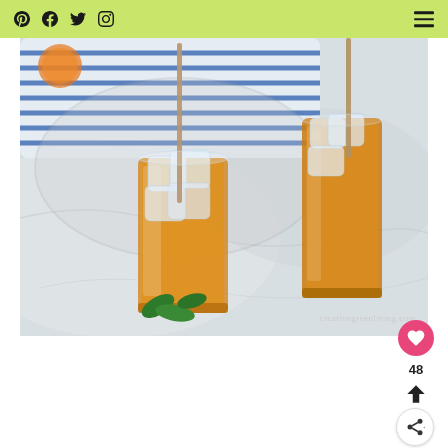Navigation bar with Pinterest, Facebook, Twitter, Instagram icons and hamburger menu
[Figure (photo): Two tall glasses of iced tea with large ice cubes and metal straws, garnished with fresh basil leaves, sitting on a marble surface with a blue and white striped cloth in the background. Watermark reads creativegreenliving.com]
48
Up arrow and share icons